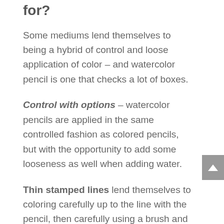for?
Some mediums lend themselves to being a hybrid of control and loose application of color – and watercolor pencil is one that checks a lot of boxes.
Control with options – watercolor pencils are applied in the same controlled fashion as colored pencils, but with the opportunity to add some looseness as well when adding water.
Thin stamped lines lend themselves to coloring carefully up to the line with the pencil, then carefully using a brush and water to break up the pigment. But